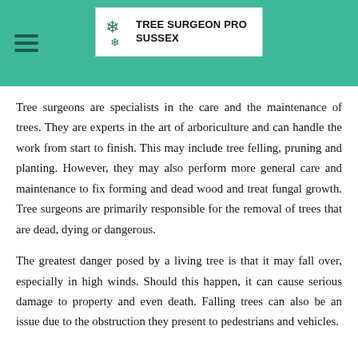TREE SURGEON PRO SUSSEX
Tree surgeons are specialists in the care and the maintenance of trees. They are experts in the art of arboriculture and can handle the work from start to finish. This may include tree felling, pruning and planting. However, they may also perform more general care and maintenance to fix forming and dead wood and treat fungal growth. Tree surgeons are primarily responsible for the removal of trees that are dead, dying or dangerous.
The greatest danger posed by a living tree is that it may fall over, especially in high winds. Should this happen, it can cause serious damage to property and even death. Falling trees can also be an issue due to the obstruction they present to pedestrians and vehicles.